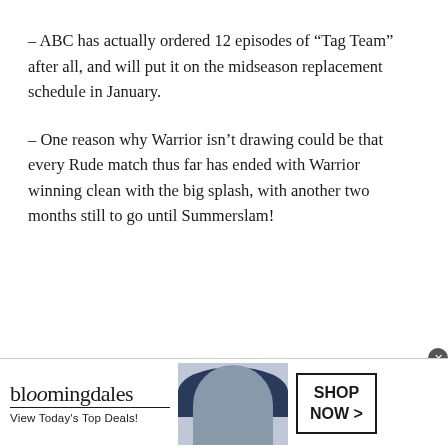– ABC has actually ordered 12 episodes of “Tag Team” after all, and will put it on the midseason replacement schedule in January.
– One reason why Warrior isn’t drawing could be that every Rude match thus far has ended with Warrior winning clean with the big splash, with another two months still to go until Summerslam!
[Figure (other): Bloomingdale's advertisement banner with logo, 'View Today’s Top Deals!', a woman in a wide-brim hat, and a 'SHOP NOW >' button.]